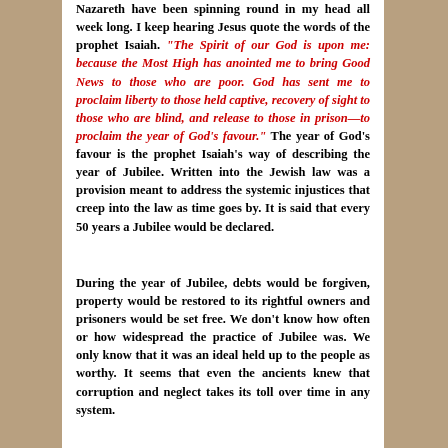Nazareth have been spinning round in my head all week long. I keep hearing Jesus quote the words of the prophet Isaiah. “The Spirit of our God is upon me: because the Most High has anointed me to bring Good News to those who are poor. God has sent me to proclaim liberty to those held captive, recovery of sight to those who are blind, and release to those in prison—to proclaim the year of God’s favour.” The year of God’s favour is the prophet Isaiah’s way of describing the year of Jubilee. Written into the Jewish law was a provision meant to address the systemic injustices that creep into the law as time goes by. It is said that every 50 years a Jubilee would be declared.
During the year of Jubilee, debts would be forgiven, property would be restored to its rightful owners and prisoners would be set free. We don’t know how often or how widespread the practice of Jubilee was. We only know that it was an ideal held up to the people as worthy. It seems that even the ancients knew that corruption and neglect takes its toll over time in any system.